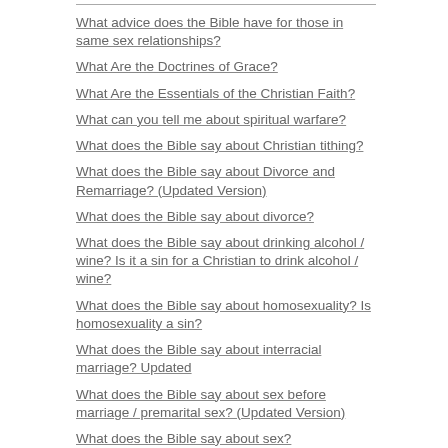What advice does the Bible have for those in same sex relationships?
What Are the Doctrines of Grace?
What Are the Essentials of the Christian Faith?
What can you tell me about spiritual warfare?
What does the Bible say about Christian tithing?
What does the Bible say about Divorce and Remarriage? (Updated Version)
What does the Bible say about divorce?
What does the Bible say about drinking alcohol / wine? Is it a sin for a Christian to drink alcohol / wine?
What does the Bible say about homosexuality? Is homosexuality a sin?
What does the Bible say about interracial marriage? Updated
What does the Bible say about sex before marriage / premarital sex? (Updated Version)
What does the Bible say about sex?
What does the Bible say about tattoos / body piercings?